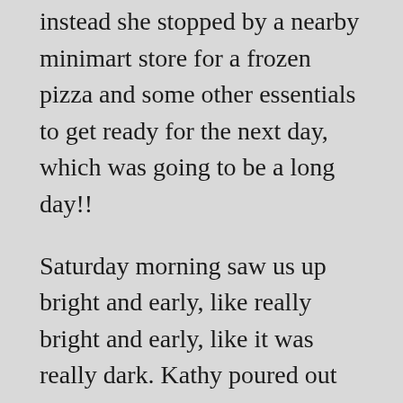instead she stopped by a nearby minimart store for a frozen pizza and some other essentials to get ready for the next day, which was going to be a long day!!
Saturday morning saw us up bright and early, like really bright and early, like it was really dark. Kathy poured out her first cup of coffee at 04:10 in the morning and we were out the door shortly after 5 am to head up to Glacier NP. The Going to the Sun Road opened up at 06:00 and we were just behind some cars driving up to the Logan Pass Visitor Center to find a parking spot. When we arrived the parking lot was already almost full so good thing we started out as soon as we did. Additionally, the cool